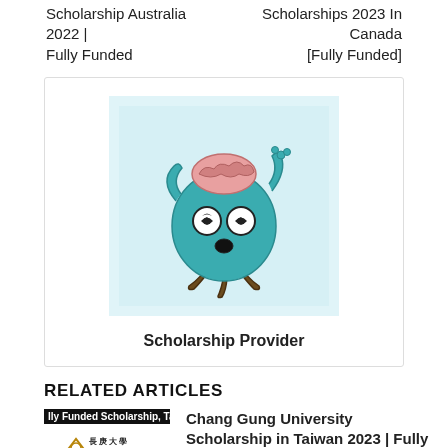Scholarship Australia 2022 | Fully Funded
Scholarships 2023 In Canada [Fully Funded]
[Figure (illustration): Cartoon mascot character: a round teal/turquoise body with spiral eyes, pink brain on top, open mouth, one arm waving, standing on brown tree-root legs, on a light blue background.]
Scholarship Provider
RELATED ARTICLES
[Figure (screenshot): Thumbnail image for Chang Gung University Scholarship article: black bar with text 'lly Funded Scholarship, Taiw', Chang Gung University logo with Chinese characters, 'No Need IELTS/TOEFL' in red, black bar at bottom.]
Chang Gung University Scholarship in Taiwan 2023 | Fully Funded
August 31, 2022